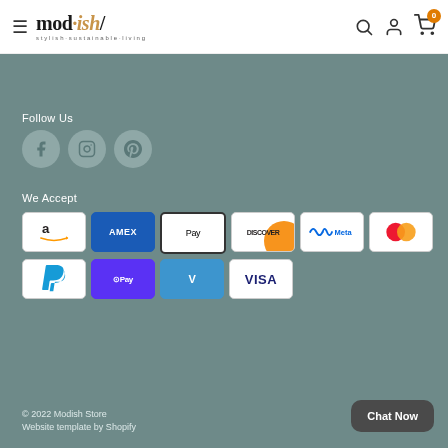[Figure (logo): mod·ish/ stylish·sustainable·living logo with hamburger menu on left and search, account, cart icons on right]
Follow Us
[Figure (illustration): Social media icons: Facebook, Instagram, Pinterest in grey circles]
We Accept
[Figure (illustration): Payment method icons: Amazon, Amex, Apple Pay, Discover, Meta, Mastercard, PayPal, Shop Pay, Venmo, Visa]
© 2022 Modish Store
Website template by Shopify